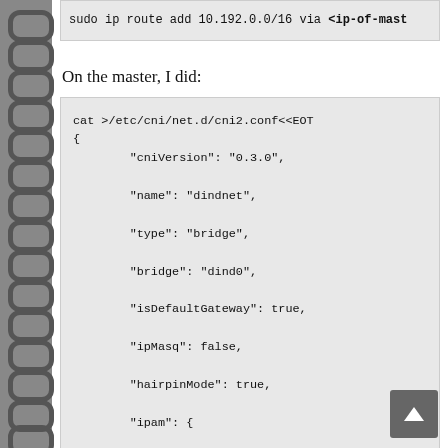sudo ip route add 10.192.0.0/16 via <ip-of-mast
On the master, I did:
cat >/etc/cni/net.d/cni2.conf<<EOT
{
        "cniVersion": "0.3.0",
        "name": "dindnet",
        "type": "bridge",
        "bridge": "dind0",
        "isDefaultGateway": true,
        "ipMasq": false,
        "hairpinMode": true,
        "ipam": {
            "type": "host-local",
            "ranges": [
                [